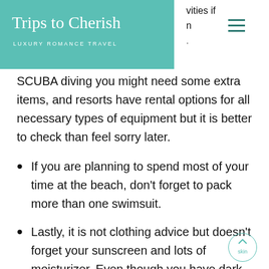Trips to Cherish — LUXURY ROMANCE TRAVEL
SCUBA diving you might need some extra items, and resorts have rental options for all necessary types of equipment but it is better to check than feel sorry later.
If you are planning to spend most of your time at the beach, don't forget to pack more than one swimsuit.
Lastly, it is not clothing advice but doesn't forget your sunscreen and lots of moisturizer. Even though you have dark-toned skin you need sunscreen to protect